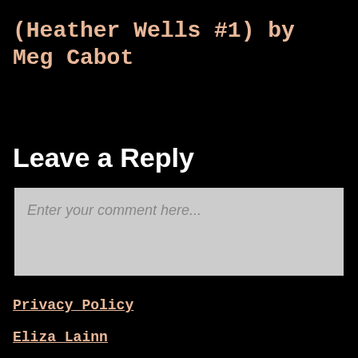(Heather Wells #1) by Meg Cabot
Leave a Reply
Enter your comment here...
Privacy Policy
Eliza Lainn